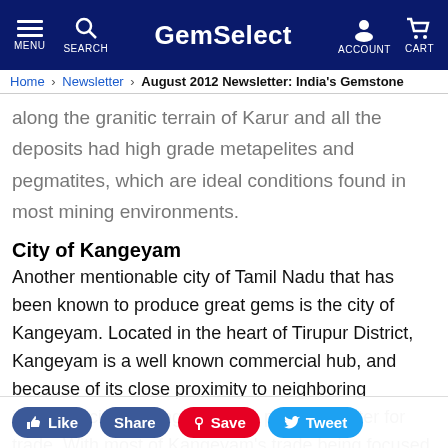GemSelect — MENU | SEARCH | ACCOUNT | CART
Home > Newsletter > August 2012 Newsletter: India's Gemstone
along the granitic terrain of Karur and all the deposits had high grade metapelites and pegmatites, which are ideal conditions found in most mining environments.
City of Kangeyam
Another mentionable city of Tamil Nadu that has been known to produce great gems is the city of Kangeyam. Located in the heart of Tirupur District, Kangeyam is a well known commercial hub, and because of its close proximity to neighboring industrial cities, Kangeyam is a popular center for trade. With most of Kangeyam's trade being focused on agricultural goods and textiles, Kangeyam is not usually recognised as a precious stone supplier. Much of its credited fame is owed to a surplus of mystical moonstone.